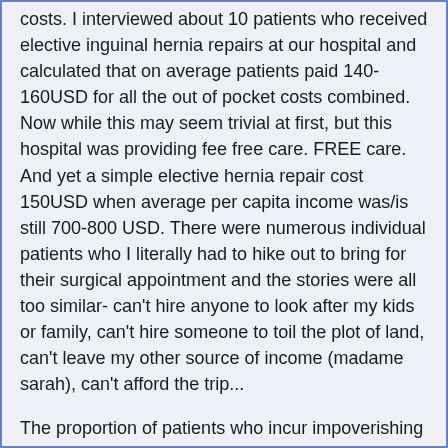costs. I interviewed about 10 patients who received elective inguinal hernia repairs at our hospital and calculated that on average patients paid 140-160USD for all the out of pocket costs combined. Now while this may seem trivial at first, but this hospital was providing fee free care. FREE care. And yet a simple elective hernia repair cost 150USD when average per capita income was/is still 700-800 USD. There were numerous individual patients who I literally had to hike out to bring for their surgical appointment and the stories were all too similar- can't hire anyone to look after my kids or family, can't hire someone to toil the plot of land, can't leave my other source of income (madame sarah), can't afford the trip...
The proportion of patients who incur impoverishing expenditure for surgery is 58%, 55% or so of those costs are catastrophic.. means families are completely ruined.
This data is very limited, and our understanding of these horrible situations is so incomplete. If we could collect this kind of data on a systematic basis and in organized manner we would have the concrete arguments to direct investments into surgical care recognizing how vitally important it is to the socio-economic viability of people, families, communities, and nations - and yes our world